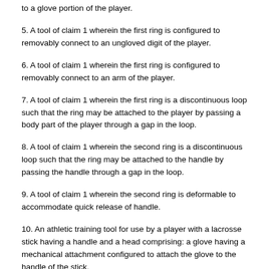to a glove portion of the player.
5. A tool of claim 1 wherein the first ring is configured to removably connect to an ungloved digit of the player.
6. A tool of claim 1 wherein the first ring is configured to removably connect to an arm of the player.
7. A tool of claim 1 wherein the first ring is a discontinuous loop such that the ring may be attached to the player by passing a body part of the player through a gap in the loop.
8. A tool of claim 1 wherein the second ring is a discontinuous loop such that the ring may be attached to the handle by passing the handle through a gap in the loop.
9. A tool of claim 1 wherein the second ring is deformable to accommodate quick release of handle.
10. An athletic training tool for use by a player with a lacrosse stick having a handle and a head comprising: a glove having a mechanical attachment configured to attach the glove to the handle of the stick.